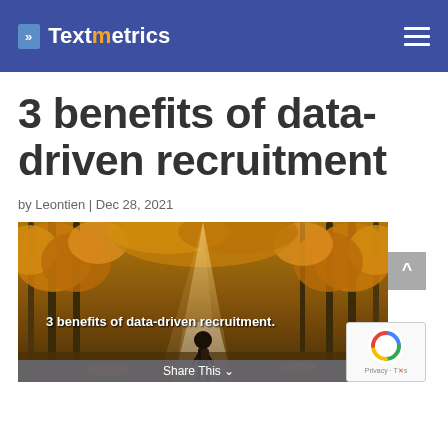Textmetrics
3 benefits of data-driven recruitment
by Leontien | Dec 28, 2021
[Figure (photo): Autumn forest path with a person walking, overlaid with text '3 benefits of data-driven recruitment.']